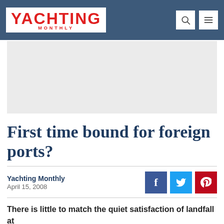YACHTING MONTHLY
[Figure (other): Advertisement placeholder (gray box)]
First time bound for foreign ports?
Yachting Monthly
April 15, 2008
There is little to match the quiet satisfaction of landfall at